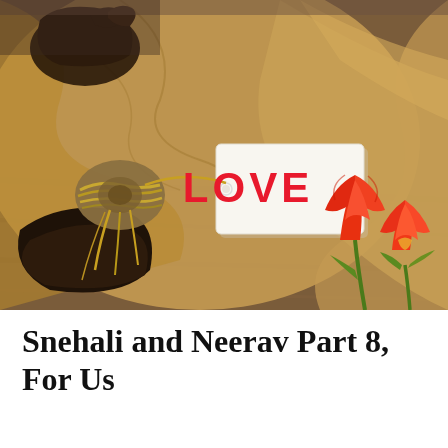[Figure (photo): Close-up photo of hands wrapping a brown kraft paper gift bundle tied with natural twine, with a white rectangular tag labeled 'LOVE' in red letters. Two red/orange tulips lie on a wooden surface to the right.]
Snehali and Neerav Part 8, For Us